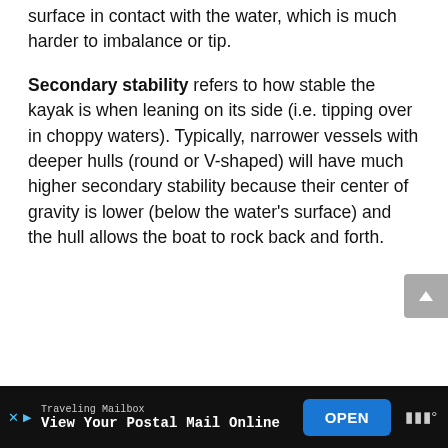surface in contact with the water, which is much harder to imbalance or tip.
Secondary stability refers to how stable the kayak is when leaning on its side (i.e. tipping over in choppy waters). Typically, narrower vessels with deeper hulls (round or V-shaped) will have much higher secondary stability because their center of gravity is lower (below the water’s surface) and the hull allows the boat to rock back and forth.
Traveling Mailbox | View Your Postal Mail Online | OPEN